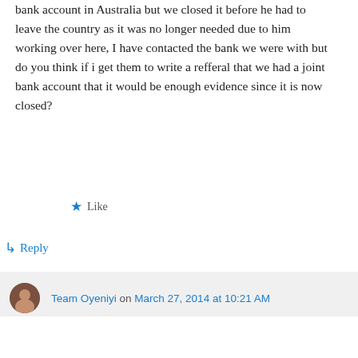bank account in Australia but we closed it before he had to leave the country as it was no longer needed due to him working over here, I have contacted the bank we were with but do you think if i get them to write a refferal that we had a joint bank account that it would be enough evidence since it is now closed?
★ Like
↳ Reply
Team Oyeniyi on March 27, 2014 at 10:21 AM
Advertisements
[Figure (other): WordPress.com advertisement banner with logo and 'Build Your Website' button]